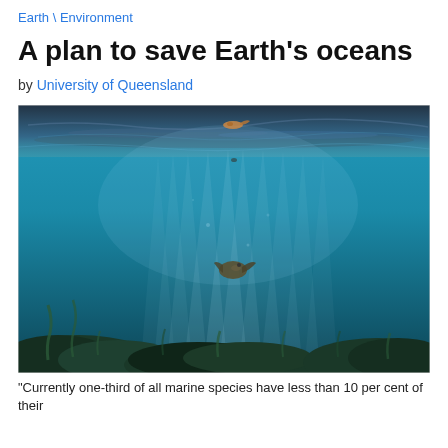Earth \ Environment
A plan to save Earth's oceans
by University of Queensland
[Figure (photo): Underwater ocean photograph showing a sea creature (likely a sea lion or seal) swimming in deep blue-teal water with sunlight rays filtering down from the surface. Rocky reef and marine plants visible at the bottom.]
"Currently one-third of all marine species have less than 10 per cent of their